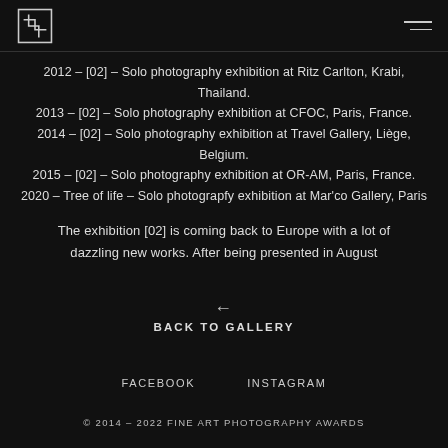[logo] [hamburger menu]
2012 – [02] – Solo photography exhibition at Ritz Carlton, Krabi, Thailand.
2013 – [02] – Solo photography exhibition at CFOC, Paris, France.
2014 – [02] – Solo photography exhibition at Travel Gallery, Liège, Belgium.
2015 – [02] – Solo photography exhibition at OR-AM, Paris, France.
2020 – Tree of life – Solo photograpfy exhibition at Mar'co Gallery, Paris
The exhibition [02] is coming back to Europe with a lot of dazzling new works. After being presented in August
← BACK TO GALLERY
FACEBOOK    INSTAGRAM
© 2014 – 2022 FINE ART PHOTOGRAPHY AWARDS